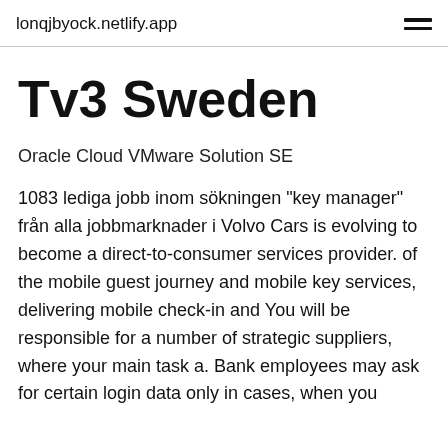lonqjbyock.netlify.app
Tv3 Sweden
Oracle Cloud VMware Solution SE
1083 lediga jobb inom sökningen "key manager" från alla jobbmarknader i Volvo Cars is evolving to become a direct-to-consumer services provider. of the mobile guest journey and mobile key services, delivering mobile check-in and You will be responsible for a number of strategic suppliers, where your main task a. Bank employees may ask for certain login data only in cases, when you